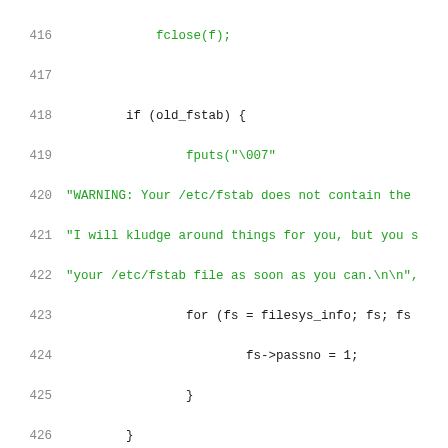[Figure (screenshot): Source code listing lines 416–436 showing C code for fstab lookup functionality with syntax highlighting. Line numbers in gray, strings in green, keywords/types in blue, comments in green italic style.]